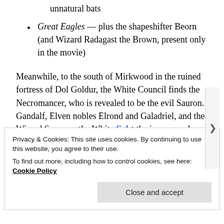…from Gundabad, plus trolls, Sauron and unnatural bats
Great Eagles — plus the shapeshifter Beorn (and Wizard Radagast the Brown, present only in the movie)
Meanwhile, to the south of Mirkwood in the ruined fortress of Dol Goldur, the White Council finds the Necromancer, who is revealed to be the evil Sauron. Gandalf, Elven nobles Elrond and Galadriel, and the Wizard Saruman the White fight the incorporeal Sauron and his nine Nazgul, the spirits of corrupted human kings.
Privacy & Cookies: This site uses cookies. By continuing to use this website, you agree to their use.
To find out more, including how to control cookies, see here: Cookie Policy
Close and accept